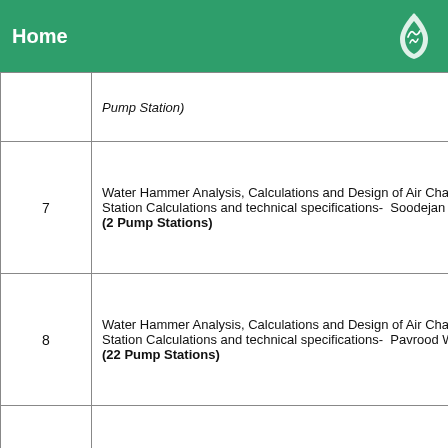Home
| # | Description |
| --- | --- |
|  | Pump Station) |
| 7 | Water Hammer Analysis, Calculations and Design of Air Chambers And Station Calculations and technical specifications- Soodejan Water Supp... (2 Pump Stations) |
| 8 | Water Hammer Analysis, Calculations and Design of Air Chambers And Station Calculations and technical specifications- Pavrood Water Suppl... (22 Pump Stations) |
| 9 | Water Hammer Analysis, Calculations - Taleghan dam water pipeline to... |
| 10 | Water Hammer Analysis, Calculations and Design of Air Chambers And Station Calculations and technical specifications - Sartarahan Water Sup... (3 Pump Stations) |
|  |  |